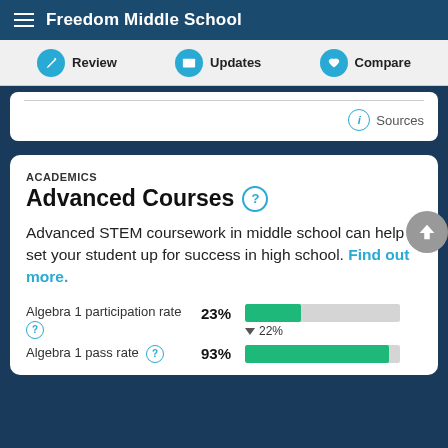Freedom Middle School
Review | Updates | Compare
Sources
ACADEMICS
Advanced Courses
Advanced STEM coursework in middle school can help set your student up for success in high school. Find out more.
[Figure (bar-chart): Algebra 1 participation rate]
[Figure (bar-chart): Algebra 1 pass rate]